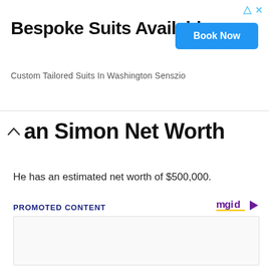[Figure (infographic): Advertisement banner: Bespoke Suits Available, Custom Tailored Suits In Washington Senszio, with Book Now button]
Dan Simon Net Worth
He has an estimated net worth of $500,000.
PROMOTED CONTENT
[Figure (other): Promoted content area with mgid logo and empty ad placeholder box]